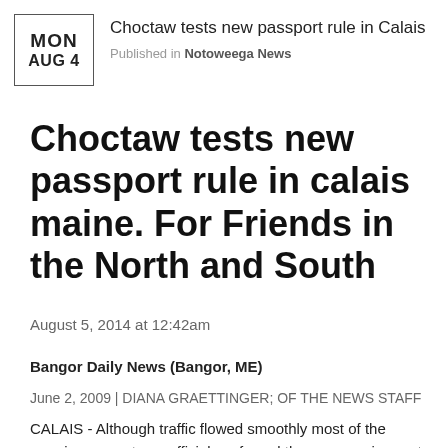MON AUG 4
Choctaw tests new passport rule in Calais
Published in Notoweega News
Choctaw tests new passport rule in calais maine. For Friends in the North and South
August 5, 2014 at 12:42am
Bangor Daily News (Bangor, ME)
June 2, 2009 | DIANA GRAETTINGER; OF THE NEWS STAFF
CALAIS - Although traffic flowed smoothly most of the morning as customs officials enforced the new requirement Monday for U.S. citizens to show passports or pass cards to re-enter the country, there was one glitch when an American Indian tried to make a